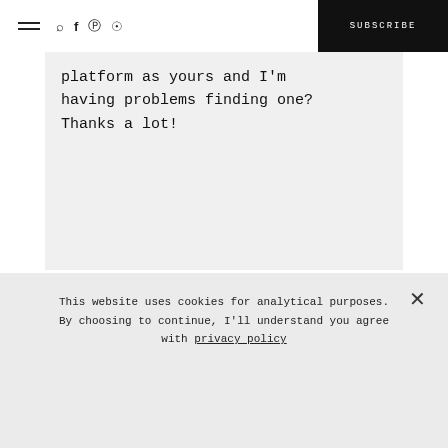☰ 🔍 f 𝒫 ⊙ SUBSCRIBE
platform as yours and I'm having problems finding one? Thanks a lot!
THEIR DATING SITES
This website uses cookies for analytical purposes. By choosing to continue, I'll understand you agree with privacy policy